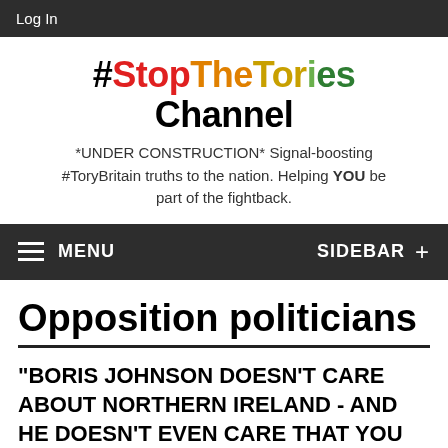Log In
#StopTheTories Channel
*UNDER CONSTRUCTION* Signal-boosting #ToryBritain truths to the nation. Helping YOU be part of the fightback.
MENU  SIDEBAR +
Opposition politicians
“BORIS JOHNSON DOESN’T CARE ABOUT NORTHERN IRELAND - AND HE DOESN’T EVEN CARE THAT YOU KNOW THAT”